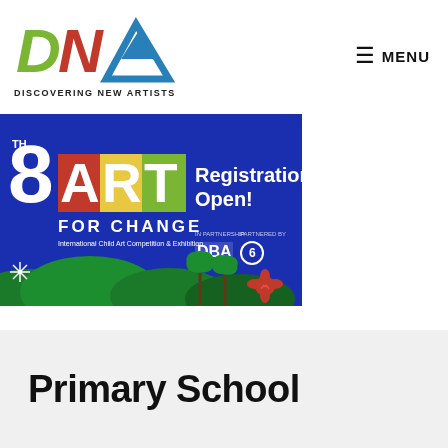DNA - DISCOVERING NEW ARTISTS | MENU
[Figure (illustration): 8th ART FOR CHANGE International Child Art Competition & Exhibition banner with Registration Open text, DBA and partner logos, colorful tropical themed artwork on blue background]
Primary School